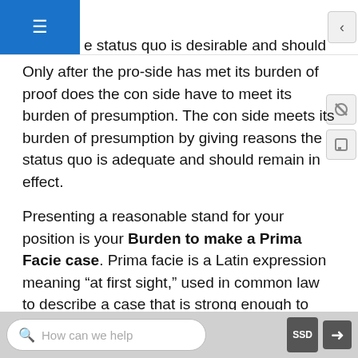e status quo is desirable and should remain in
Only after the pro-side has met its burden of proof does the con side have to meet its burden of presumption. The con side meets its burden of presumption by giving reasons the status quo is adequate and should remain in effect.
Presenting a reasonable stand for your position is your Burden to make a Prima Facie case. Prima facie is a Latin expression meaning “at first sight,” used in common law to describe a case that is strong enough to justify further debate. For example, being found standing near a dead gunshot victim with a smoking gun in your hand would establish a prima facie case for murder charges. In argumentation, prima facie is
How can we help